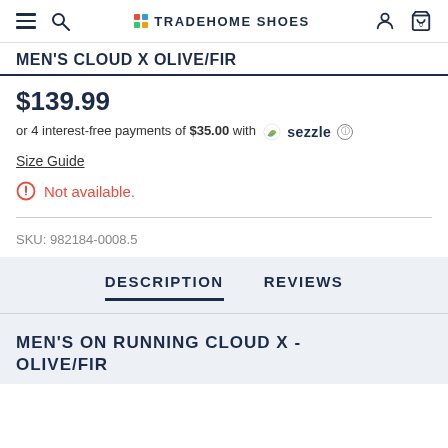TRADEHOME SHOES — navigation header with hamburger menu, search, logo, user account, and shopping bag
MEN'S CLOUD X OLIVE/FIR
$139.99
or 4 interest-free payments of $35.00 with Sezzle
Size Guide
Not available.
SKU: 982184-0008.5
DESCRIPTION
REVIEWS
MEN'S ON RUNNING CLOUD X - OLIVE/FIR